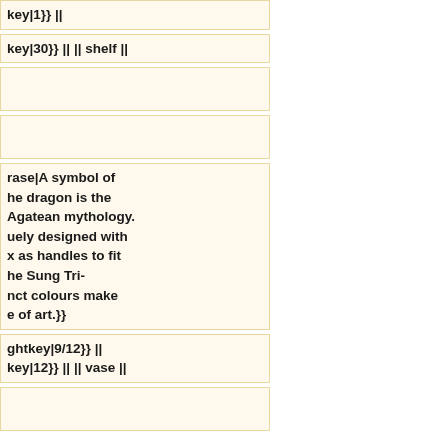key|1}} ||
key|30}} || || shelf ||
rase|A symbol of he dragon is the Agatean mythology. uely designed with x as handles to fit he Sung Tri- nct colours make e of art.}}
ghtkey|9/12}} || key|12}} || || vase ||